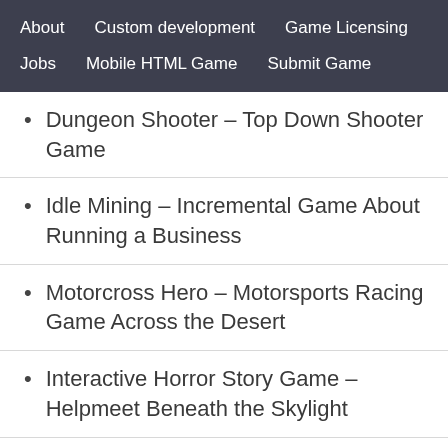About   Custom development   Game Licensing   Jobs   Mobile HTML Game   Submit Game
Dungeon Shooter – Top Down Shooter Game
Idle Mining – Incremental Game About Running a Business
Motorcross Hero – Motorsports Racing Game Across the Desert
Interactive Horror Story Game – Helpmeet Beneath the Skylight
Deepest Sword – Knight Action Adventure Game
Hurdle Run – Hurdling Sports Game for